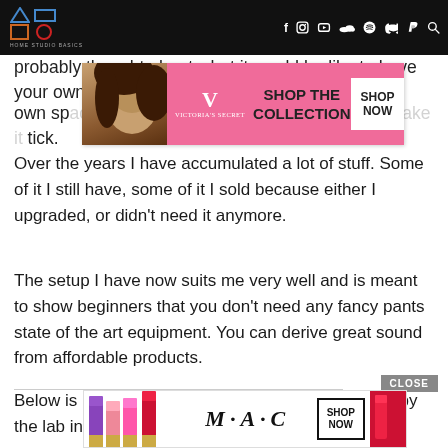HOME STUDIO BASICS
probably thought about what it would be like to have your own equipment. Building my own space. About all of the different things that make it tick.
[Figure (photo): Victoria's Secret advertisement banner with a model and pink background. Text reads: VICTORIA'S SECRET SHOP THE COLLECTION. Button: SHOP NOW]
Over the years I have accumulated a lot of stuff. Some of it I still have, some of it I sold because either I upgraded, or didn't need it anymore.
The setup I have now suits me very well and is meant to show beginners that you don't need any fancy pants state of the art equipment. You can derive great sound from affordable products.
Below is my current headphone collection followed by the lab in different stages!
[Figure (photo): MAC cosmetics advertisement banner with lipsticks in purple, pink, and red. Text: MAC. Button: SHOP NOW]